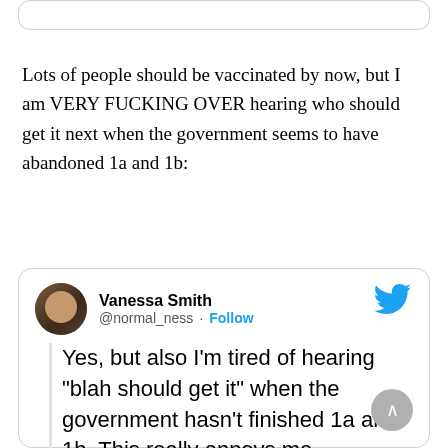[Figure (screenshot): Top portion of a tweet card, partially visible at the top of the page]
Lots of people should be vaccinated by now, but I am VERY FUCKING OVER hearing who should get it next when the government seems to have abandoned 1a and 1b:
[Figure (screenshot): Tweet card from Vanessa Smith (@normal_ness) with Follow button and Twitter bird icon. Tweet text: Yes, but also I'm tired of hearing "blah should get it" when the government hasn't finished 1a and 1b. This really annoys me.]